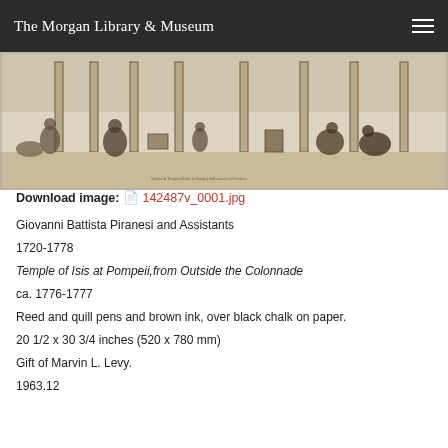The Morgan Library & Museum
[Figure (illustration): Etching/drawing of the Temple of Isis at Pompeii showing figures working among classical columns, rendered in brown ink.]
Download image: 📄 142487v_0001.jpg
Giovanni Battista Piranesi and Assistants
1720-1778
Temple of Isis at Pompeii,from Outside the Colonnade
ca. 1776-1777
Reed and quill pens and brown ink, over black chalk on paper.
20 1/2 x 30 3/4 inches (520 x 780 mm)
Gift of Marvin L. Levy.
1963.12